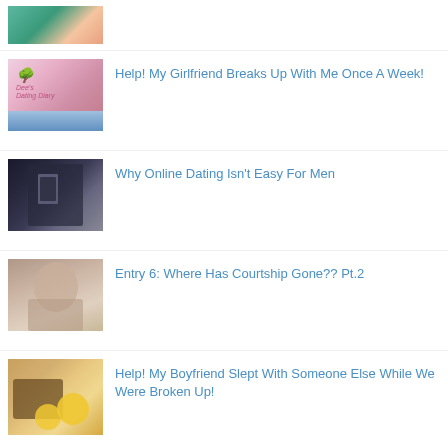(image thumbnail - partial, cropped at top)
Help! My Girlfriend Breaks Up With Me Once A Week!
Why Online Dating Isn't Easy For Men
Entry 6: Where Has Courtship Gone?? Pt.2
Help! My Boyfriend Slept With Someone Else While We Were Broken Up!
(image thumbnail - partial, cropped at bottom)